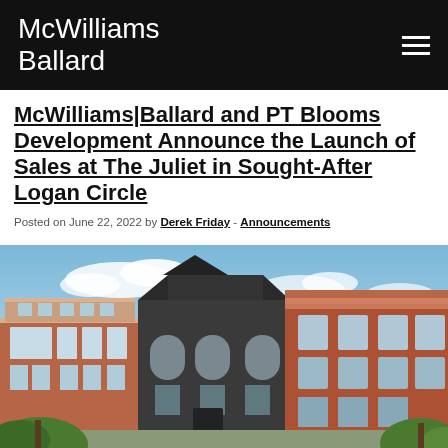McWilliams Ballard
McWilliams|Ballard and PT Blooms Development Announce the Launch of Sales at The Juliet in Sought-After Logan Circle
Posted on June 22, 2022 by Derek Friday - Announcements
[Figure (photo): Exterior rendering of The Juliet building in Logan Circle, showing a row of historic brick and dark-painted townhomes under a blue sky with clouds and trees in the foreground.]